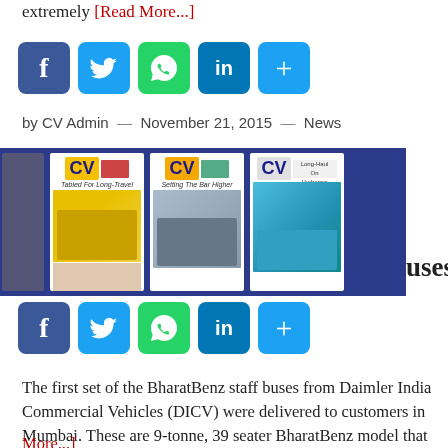extremely [Read More...]
[Figure (infographic): Social share buttons: Facebook, Twitter, WhatsApp, LinkedIn, Share (top)]
by CV Admin — November 21, 2015 — News
[Figure (infographic): CV magazine banner with blue background showing three magazine covers with trucks and buses]
uses
[Figure (infographic): Social share buttons: Facebook, Twitter, WhatsApp, LinkedIn, Share (bottom)]
The first set of the BharatBenz staff buses from Daimler India Commercial Vehicles (DICV) were delivered to customers in Mumbai. These are 9-tonne, 39 seater BharatBenz model that is available in BS III and BS IV form. The front engine bus is said to feature ABS, front and rear anti-roll bars, and is made from fire retardant materials. The emergency [Read More...]